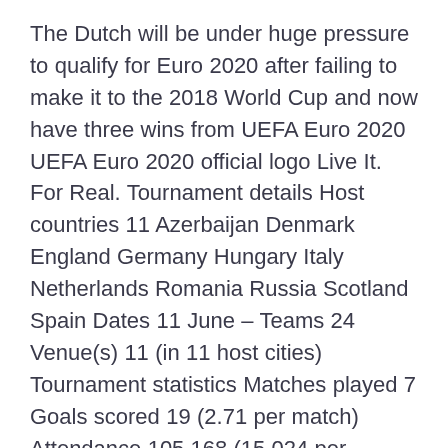The Dutch will be under huge pressure to qualify for Euro 2020 after failing to make it to the 2018 World Cup and now have three wins from UEFA Euro 2020 UEFA Euro 2020 official logo Live It. For Real. Tournament details Host countries 11 Azerbaijan Denmark England Germany Hungary Italy Netherlands Romania Russia Scotland Spain Dates 11 June – Teams 24 Venue(s) 11 (in 11 host cities) Tournament statistics Matches played 7 Goals scored 19 (2.71 per match) Attendance 105,168 (15,024 per match) Top scorer(s) Romelu Group D: Denmark v Georgia, Republic of Ireland v Gibraltar Group F: Spain v Sweden, Malta v Romania, Faroe Islands v Norway Group G: Poland v Israel, FYR Macedonia v Austria, Latvia v Slovenia. Tuesday 11 June. Group C: Germany v Estonia, Belarus v Northern Ireland Group E: Azerbaijan v Slovakia (18:00). Hungary